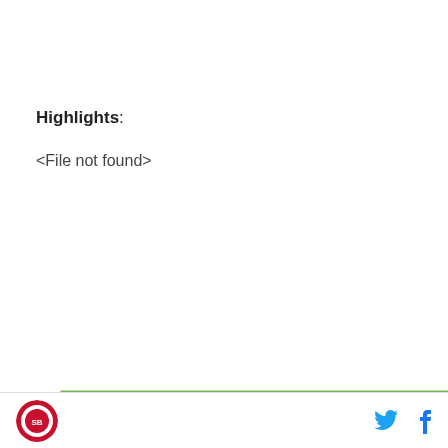Highlights:
<File not found>
[Figure (other): DraftKings Sportsbook betting widget showing Brady Tkachuk to win MVP at +15000 odds]
Site logo, Twitter icon, Facebook icon